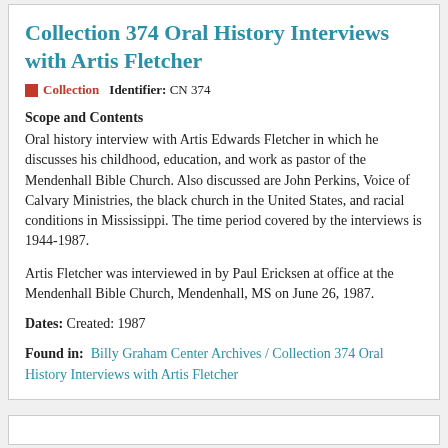Collection 374 Oral History Interviews with Artis Fletcher
Collection   Identifier: CN 374
Scope and Contents
Oral history interview with Artis Edwards Fletcher in which he discusses his childhood, education, and work as pastor of the Mendenhall Bible Church. Also discussed are John Perkins, Voice of Calvary Ministries, the black church in the United States, and racial conditions in Mississippi. The time period covered by the interviews is 1944-1987.
Artis Fletcher was interviewed in by Paul Ericksen at office at the Mendenhall Bible Church, Mendenhall, MS on June 26, 1987.
Dates: Created: 1987
Found in: Billy Graham Center Archives / Collection 374 Oral History Interviews with Artis Fletcher